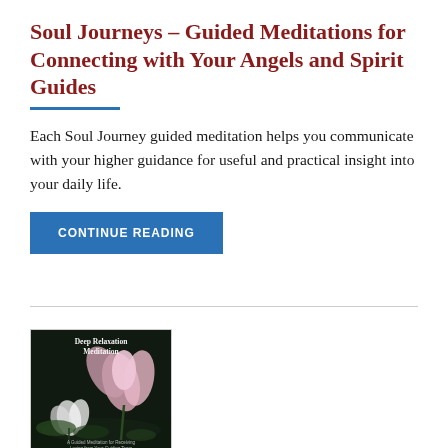Soul Journeys – Guided Meditations for Connecting with Your Angels and Spirit Guides
Each Soul Journey guided meditation helps you communicate with your higher guidance for useful and practical insight into your daily life.
CONTINUE READING
[Figure (photo): Book cover for 'Deep Relaxation Meditation' by Ana Jones, featuring a lotus flower on a dark background]
Deep Relaxation Meditation